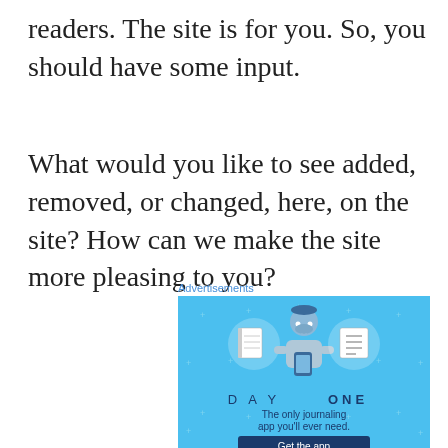readers. The site is for you. So, you should have some input.
What would you like to see added, removed, or changed, here, on the site? How can we make the site more pleasing to you?
Advertisements
[Figure (illustration): Day One journaling app advertisement on a blue background. Shows a cartoon person holding a phone with icons of a notebook and a checklist on either side. Text reads 'D A Y ONE - The only journaling app you'll ever need.' with a dark blue 'Get the app' button at the bottom.]